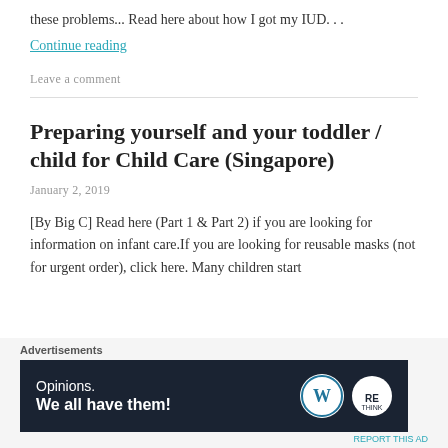these problems... Read here about how I got my IUD...
Continue reading
Leave a comment
Preparing yourself and your toddler / child for Child Care (Singapore)
January 2, 2019
[By Big C] Read here (Part 1 & Part 2) if you are looking for information on infant care.If you are looking for reusable masks (not for urgent order), click here. Many children start
[Figure (screenshot): Advertisement banner with text 'Opinions. We all have them!' and WordPress and Rethink logos on dark navy background]